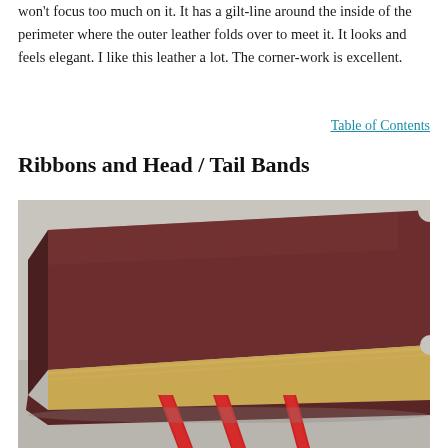won't focus too much on it. It has a gilt-line around the inside of the perimeter where the outer leather folds over to meet it. It looks and feels elegant. I like this leather a lot. The corner-work is excellent.
Table of Contents
Ribbons and Head / Tail Bands
[Figure (photo): Close-up photograph of a dark brown leather Bible or book lying flat, showing the head/tail of the spine with three red ribbon bookmarks hanging out from the bottom edge. The leather has a textured grain finish with rounded corners. The pages have a golden/gilded edge visible on the right side.]